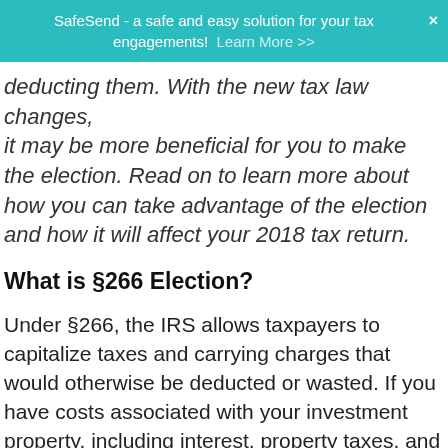SafeSend - a safe and easy solution for your tax engagements! Learn More >>
deducting them. With the new tax law changes, it may be more beneficial for you to make the election. Read on to learn more about how you can take advantage of the election and how it will affect your 2018 tax return.
What is §266 Election?
Under §266, the IRS allows taxpayers to capitalize taxes and carrying charges that would otherwise be deducted or wasted. If you have costs associated with your investment property, including interest, property taxes, and other carrying charges, such as insurance and maintenance costs, you can elect to capitalize